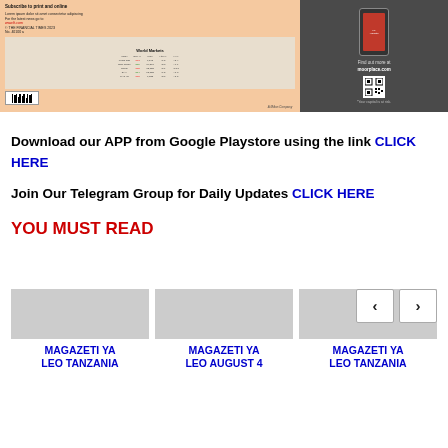[Figure (screenshot): Banner image showing a Financial Times newspaper back page with World Markets table on the left side (salmon/beige background) and a dark smartphone advertisement on the right side with text 'Find out more at moorplace.com' and a QR code, with tagline 'Your capital is at risk']
Download our APP from Google Playstore using the link CLICK HERE
Join Our Telegram Group for Daily Updates CLICK HERE
YOU MUST READ
[Figure (screenshot): Carousel navigation with back and forward arrow buttons, and three card thumbnails below labeled: 'MAGAZETI YA LEO TANZANIA', 'MAGAZETI YA LEO AUGUST 4', 'MAGAZETI YA LEO TANZANIA']